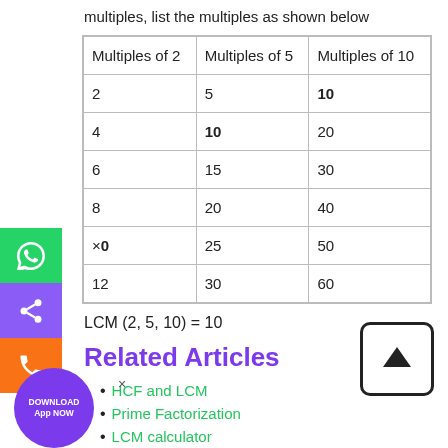multiples, list the multiples as shown below
| Multiples of 2 | Multiples of 5 | Multiples of 10 |
| --- | --- | --- |
| 2 | 5 | 10 |
| 4 | 10 | 20 |
| 6 | 15 | 30 |
| 8 | 20 | 40 |
| ×0 | 25 | 50 |
| 12 | 30 | 60 |
LCM (2, 5, 10) = 10
Related Articles
HCF and LCM
Prime Factorization
LCM calculator